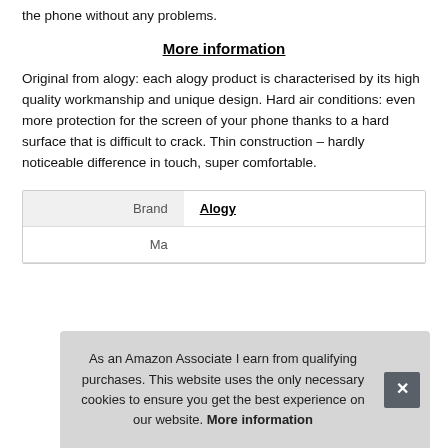the phone without any problems.
More information
Original from alogy: each alogy product is characterised by its high quality workmanship and unique design. Hard air conditions: even more protection for the screen of your phone thanks to a hard surface that is difficult to crack. Thin construction – hardly noticeable difference in touch, super comfortable.
| Brand |  |
| --- | --- |
| Brand | Alogy |
| Ma |  |
As an Amazon Associate I earn from qualifying purchases. This website uses the only necessary cookies to ensure you get the best experience on our website. More information